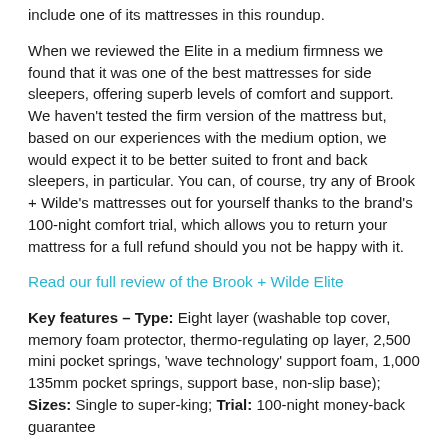include one of its mattresses in this roundup.
When we reviewed the Elite in a medium firmness we found that it was one of the best mattresses for side sleepers, offering superb levels of comfort and support. We haven't tested the firm version of the mattress but, based on our experiences with the medium option, we would expect it to be better suited to front and back sleepers, in particular. You can, of course, try any of Brook + Wilde's mattresses out for yourself thanks to the brand's 100-night comfort trial, which allows you to return your mattress for a full refund should you not be happy with it.
Read our full review of the Brook + Wilde Elite
Key features – Type: Eight layer (washable top cover, memory foam protector, thermo-regulating op layer, 2,500 mini pocket springs, 'wave technology' support foam, 1,000 135mm pocket springs, support base, non-slip base); Sizes: Single to super-king; Trial: 100-night money-back guarantee